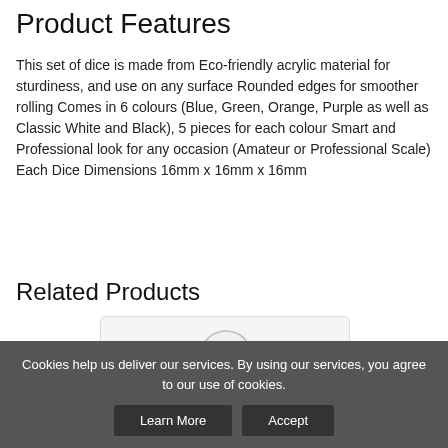Product Features
This set of dice is made from Eco-friendly acrylic material for sturdiness, and use on any surface Rounded edges for smoother rolling Comes in 6 colours (Blue, Green, Orange, Purple as well as Classic White and Black), 5 pieces for each colour Smart and Professional look for any occasion (Amateur or Professional Scale) Each Dice Dimensions 16mm x 16mm x 16mm
Related Products
[Figure (photo): A product image showing a pile of round decorative discs/coasters with a colorful mosaic or crystal pattern in red, black and green colors.]
Cookies help us deliver our services. By using our services, you agree to our use of cookies.